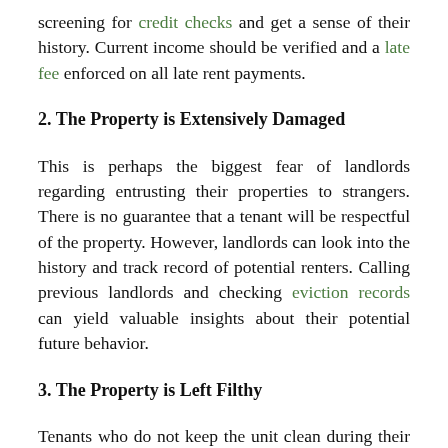screening for credit checks and get a sense of their history. Current income should be verified and a late fee enforced on all late rent payments.
2. The Property is Extensively Damaged
This is perhaps the biggest fear of landlords regarding entrusting their properties to strangers. There is no guarantee that a tenant will be respectful of the property. However, landlords can look into the history and track record of potential renters. Calling previous landlords and checking eviction records can yield valuable insights about their potential future behavior.
3. The Property is Left Filthy
Tenants who do not keep the unit clean during their stay and do not clean it after they empty it of their belongings create another nightmare scenario for landlords. It is disappointing to see a property in total disarray. However, these tenant disasters can